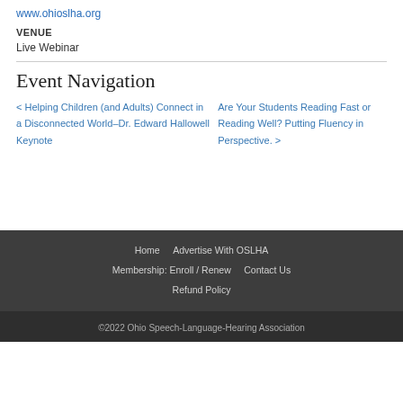www.ohioslha.org
VENUE
Live Webinar
Event Navigation
< Helping Children (and Adults) Connect in a Disconnected World–Dr. Edward Hallowell Keynote
Are Your Students Reading Fast or Reading Well? Putting Fluency in Perspective. >
Home  Advertise With OSLHA  Membership: Enroll / Renew  Contact Us  Refund Policy
©2022 Ohio Speech-Language-Hearing Association